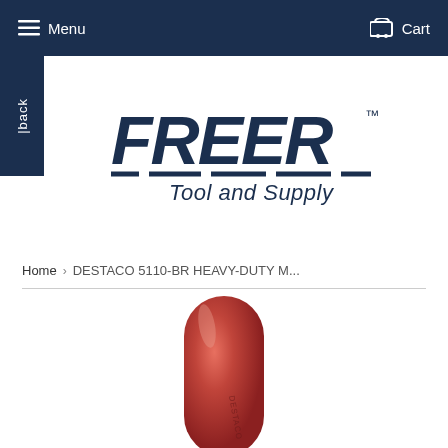Menu   Cart
back
[Figure (logo): FREER Tool and Supply logo in dark navy blue text with stylized lettering and underline strokes]
Home › DESTACO 5110-BR HEAVY-DUTY M...
[Figure (photo): Partial product photo showing a red/copper colored cylindrical toggle clamp handle against a white background]